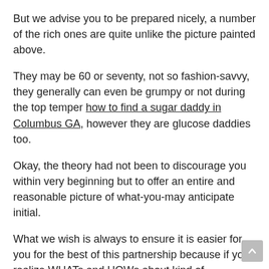But we advise you to be prepared nicely, a number of the rich ones are quite unlike the picture painted above.
They may be 60 or seventy, not so fashion-savvy, they generally can even be grumpy or not during the top temper how to find a sugar daddy in Columbus GA, however they are glucose daddies too.
Okay, the theory had not been to discourage you within very beginning but to offer an entire and reasonable picture of what-you-may anticipate initial.
What we wish is always to ensure it is easier for you for the best of this partnership because if you realize WHATs and HOWs about kind of matchmaking, you can aquire yourself a prince charming.
Or maybe more, than one, if that's everything wish.